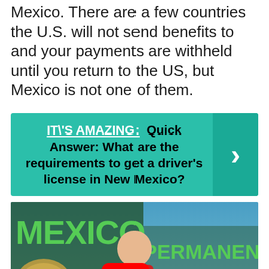Mexico. There are a few countries the U.S. will not send benefits to and your payments are withheld until you return to the US, but Mexico is not one of them.
[Figure (infographic): Teal callout box with text: IT'S AMAZING: Quick Answer: What are the requirements to get a driver's license in New Mexico? With a right-arrow chevron on the right side.]
[Figure (screenshot): YouTube video thumbnail showing a man in a red shirt with text MEXICO PERMANENT RESIDENCY in green bold letters on a dark background with a YouTube play button.]